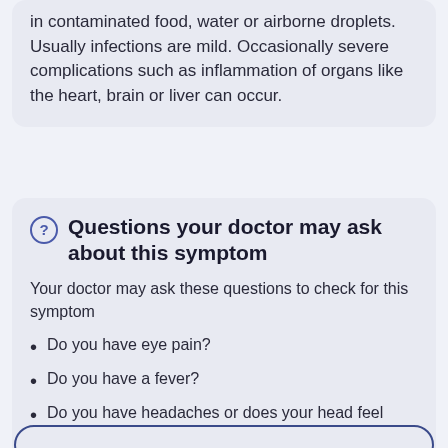in contaminated food, water or airborne droplets. Usually infections are mild. Occasionally severe complications such as inflammation of organs like the heart, brain or liver can occur.
Questions your doctor may ask about this symptom
Your doctor may ask these questions to check for this symptom
Do you have eye pain?
Do you have a fever?
Do you have headaches or does your head feel heavy?
Do you have itchy eyes?
Do you have red patches in the white of your eyes? Such as bleeding spots?